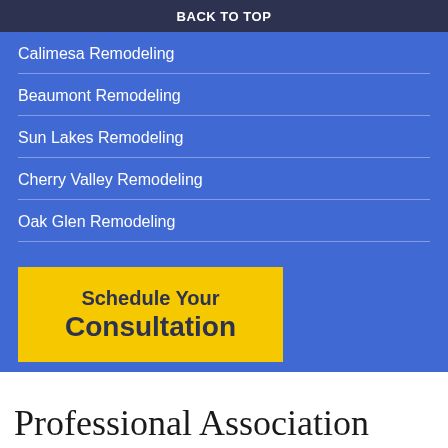BACK TO TOP
Calimesa Remodeling
Beaumont Remodeling
Sun Lakes Remodeling
Cherry Valley Remodeling
Oak Glen Remodeling
[Figure (other): Yellow call-to-action button with text 'Schedule Your Consultation' on a blue background]
Professional Association